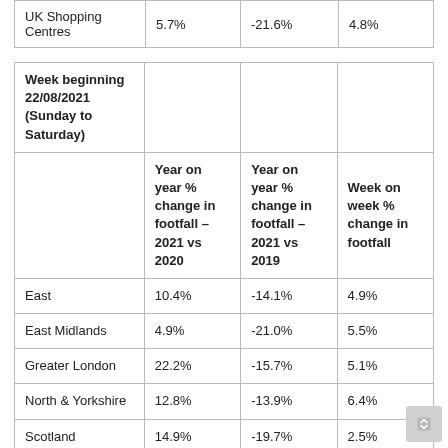|  | Year on year % change in footfall – 2021 vs 2020 | Year on year % change in footfall – 2021 vs 2019 | Week on week % change in footfall |
| --- | --- | --- | --- |
| UK Shopping Centres | 5.7% | -21.6% | 4.8% |
| Week beginning 22/08/2021 (Sunday to Saturday) |  |  |  |
|  | Year on year % change in footfall – 2021 vs 2020 | Year on year % change in footfall – 2021 vs 2019 | Week on week % change in footfall |
| East | 10.4% | -14.1% | 4.9% |
| East Midlands | 4.9% | -21.0% | 5.5% |
| Greater London | 22.2% | -15.7% | 5.1% |
| North & Yorkshire | 12.8% | -13.9% | 6.4% |
| Scotland | 14.9% | -19.7% | 2.5% |